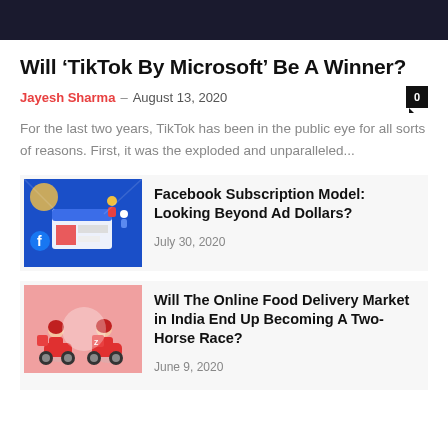[Figure (photo): Dark header image at top of page]
Will ‘TikTok By Microsoft’ Be A Winner?
Jayesh Sharma – August 13, 2020
For the last two years, TikTok has been in the public eye for all sorts of reasons. First, it was the exploded and unparalleled...
[Figure (illustration): Facebook subscription model illustration with isometric social media icons on blue background]
Facebook Subscription Model: Looking Beyond Ad Dollars?
July 30, 2020
[Figure (illustration): Food delivery illustration with delivery persons on scooters on pink background]
Will The Online Food Delivery Market in India End Up Becoming A Two-Horse Race?
June 9, 2020